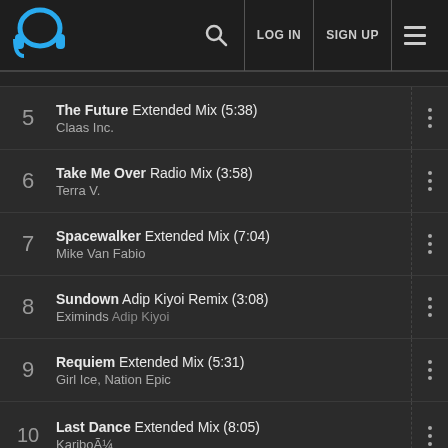Music streaming app header with logo, search, LOG IN, SIGN UP, and menu
5  The Future Extended Mix (5:38)  Claas Inc.
6  Take Me Over Radio Mix (3:58)  Terra V.
7  Spacewalker Extended Mix (7:04)  Mike Van Fabio
8  Sundown Adip Kiyoi Remix (3:08)  Eximinds Adip Kiyoi
9  Requiem Extended Mix (5:31)  Girl Ice, Nation Epic
10  Last Dance Extended Mix (8:05)  KariboÃ¼